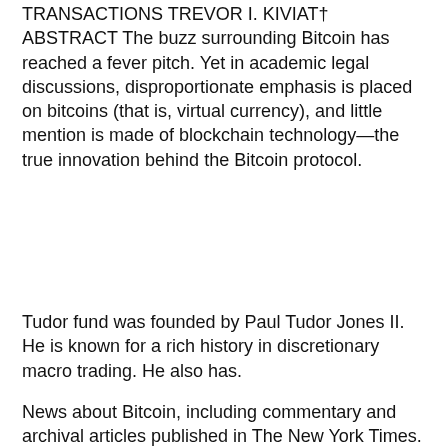TRANSACTIONS TREVOR I. KIVIAT† ABSTRACT The buzz surrounding Bitcoin has reached a fever pitch. Yet in academic legal discussions, disproportionate emphasis is placed on bitcoins (that is, virtual currency), and little mention is made of blockchain technology—the true innovation behind the Bitcoin protocol.
Tudor fund was founded by Paul Tudor Jones II. He is known for a rich history in discretionary macro trading. He also has.
News about Bitcoin, including commentary and archival articles published in The New York Times.
[embedyt]//www.youtube.com/embed/zb18XJmc7CM[/embedyt]
We use cookies to ensure that we give you the best experience on our website. If you continue to use this site we will assume that you are happy with it.
With just a few Bitcoins and a quick search of Dark Web marketplaces, bad actors can become the owners of powerfully.